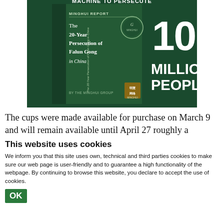[Figure (illustration): Book cover for Minghui Report: The 20-Year Persecution of Falun Gong in China, by The Minghui Group. Green cover with text reading MACHINE TO PERSECUTE 100 MILLION PEOPLE and Minghui logo.]
The cups were made available for purchase on March 9 and will remain available until April 27 roughly a
This website uses cookies
We inform you that this site uses own, technical and third parties cookies to make sure our web page is user-friendly and to guarantee a high functionality of the webpage. By continuing to browse this website, you declare to accept the use of cookies.
OK